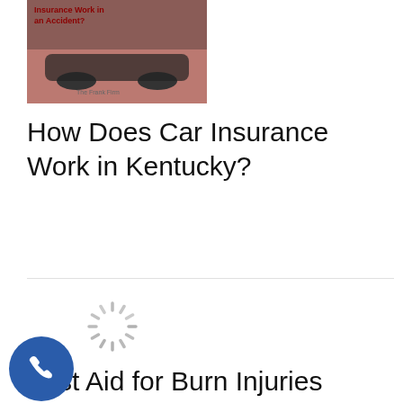[Figure (photo): Thumbnail image for article about car insurance in an accident, showing red/dark car imagery with text 'Insurance Work in an Accident?']
How Does Car Insurance Work in Kentucky?
[Figure (other): Loading spinner icon (circular dashed spinner graphic)]
First Aid for Burn Injuries
[Figure (other): Loading spinner icon (circular dashed spinner graphic)]
Intersections are the Most Dangerous Places You and Your Vehicle Can Be